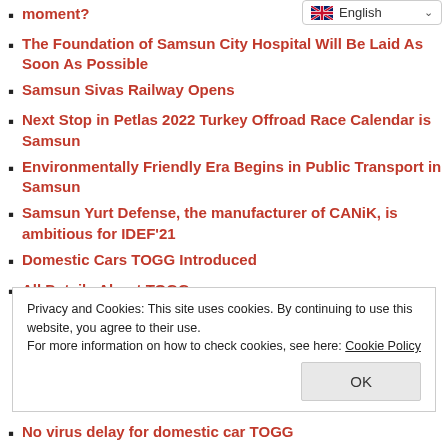moment?
English (language selector)
The Foundation of Samsun City Hospital Will Be Laid As Soon As Possible
Samsun Sivas Railway Opens
Next Stop in Petlas 2022 Turkey Offroad Race Calendar is Samsun
Environmentally Friendly Era Begins in Public Transport in Samsun
Samsun Yurt Defense, the manufacturer of CANiK, is ambitious for IDEF'21
Domestic Cars TOGG Introduced
All Details About TOGG
Privacy and Cookies: This site uses cookies. By continuing to use this website, you agree to their use.
For more information on how to check cookies, see here: Cookie Policy
OK
No virus delay for domestic car TOGG